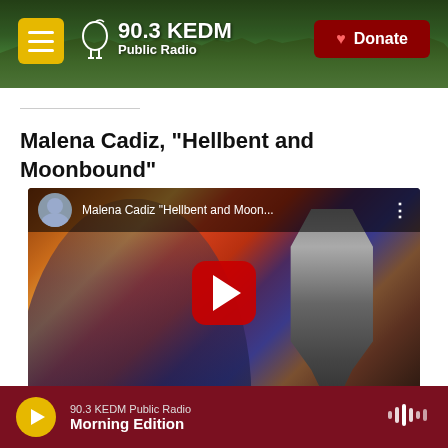90.3 KEDM Public Radio — Donate
Malena Cadiz, "Hellbent and Moonbound"
[Figure (screenshot): YouTube video thumbnail showing Malena Cadiz in front of a microphone with colorful background. YouTube top bar reads: Malena Cadiz "Hellbent and Moon..." with channel avatar and options dots. Large red play button centered.]
90.3 KEDM Public Radio — Morning Edition (audio player bar)